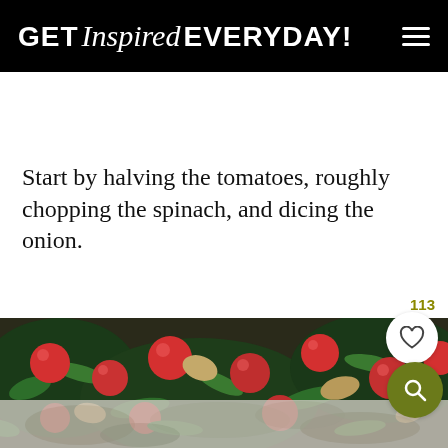GET Inspired EVERYDAY!
Start by halving the tomatoes, roughly chopping the spinach, and dicing the onion.
[Figure (photo): Close-up photo of a pan with cooked tomatoes, spinach, mushrooms and other vegetables. Below it is a partially visible faded image of food.]